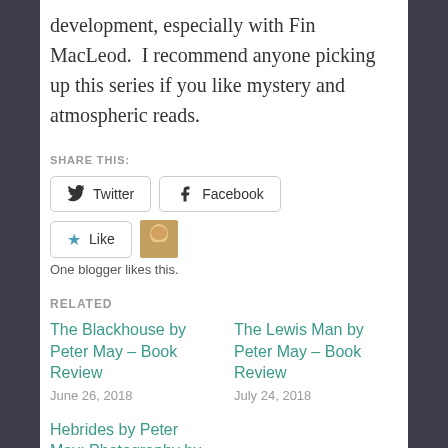development, especially with Fin MacLeod.  I recommend anyone picking up this series if you like mystery and atmospheric reads.
SHARE THIS:
[Figure (other): Share buttons for Twitter and Facebook, a Like button with star icon, and a blogger avatar thumbnail. Text reads 'One blogger likes this.']
RELATED
The Blackhouse by Peter May – Book Review
June 26, 2018
The Lewis Man by Peter May – Book Review
July 24, 2018
Hebrides by Peter May; Photography by David Wilson – Book Review
July 8, 2018